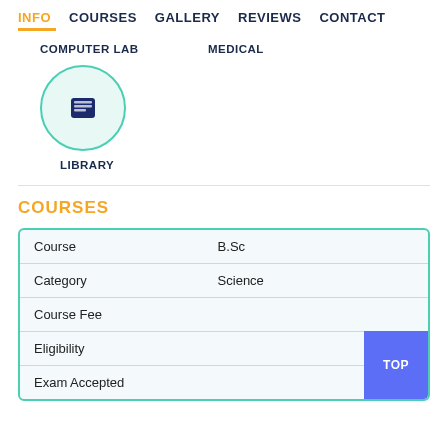INFO  COURSES  GALLERY  REVIEWS  CONTACT
COMPUTER LAB
MEDICAL
[Figure (illustration): Circle icon with book/library symbol inside, teal border with light green background]
LIBRARY
COURSES
|  |  |
| --- | --- |
| Course | B.Sc |
| Category | Science |
| Course Fee |  |
| Eligibility |  |
| Exam Accepted |  |